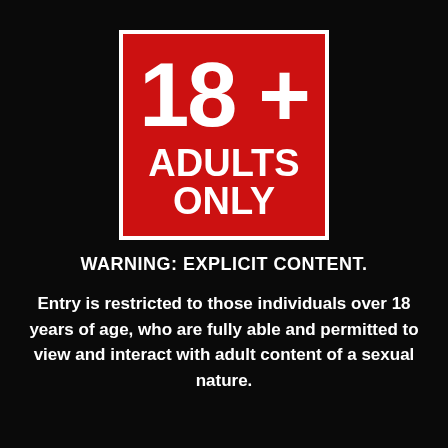[Figure (infographic): Red square badge with white border containing '18+' in large bold white text and 'ADULTS ONLY' in bold white text below]
WARNING: EXPLICIT CONTENT.
Entry is restricted to those individuals over 18 years of age, who are fully able and permitted to view and interact with adult content of a sexual nature.